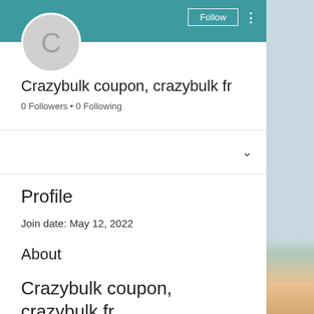[Figure (screenshot): Teal header banner with Follow button and three-dot menu icon]
[Figure (illustration): Gray circular avatar with letter C]
Crazybulk coupon, crazybulk fr
0 Followers • 0 Following
Profile
Join date: May 12, 2022
About
Crazybulk coupon, crazybulk fr